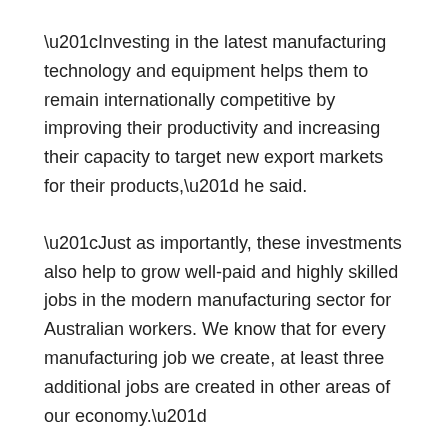“Investing in the latest manufacturing technology and equipment helps them to remain internationally competitive by improving their productivity and increasing their capacity to target new export markets for their products,” he said.
“Just as importantly, these investments also help to grow well-paid and highly skilled jobs in the modern manufacturing sector for Australian workers. We know that for every manufacturing job we create, at least three additional jobs are created in other areas of our economy.”
Manufacturing Modernisation Fund round two, building on the success of the first round, was a competitive merit-based grants program with